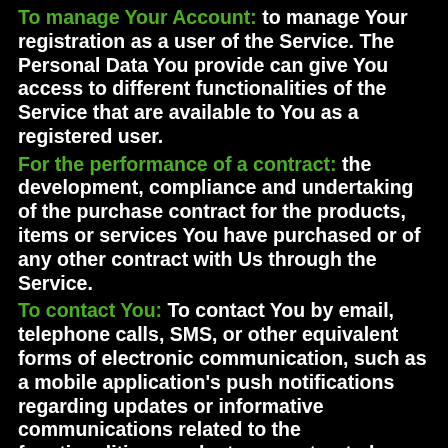To manage Your Account: to manage Your registration as a user of the Service. The Personal Data You provide can give You access to different functionalities of the Service that are available to You as a registered user.
For the performance of a contract: the development, compliance and undertaking of the purchase contract for the products, items or services You have purchased or of any other contract with Us through the Service.
To contact You: To contact You by email, telephone calls, SMS, or other equivalent forms of electronic communication, such as a mobile application's push notifications regarding updates or informative communications related to the functionalities, products or contracted services, including the security updates, when necessary or reasonable for their implementation.
To provide You with news, special offers and general